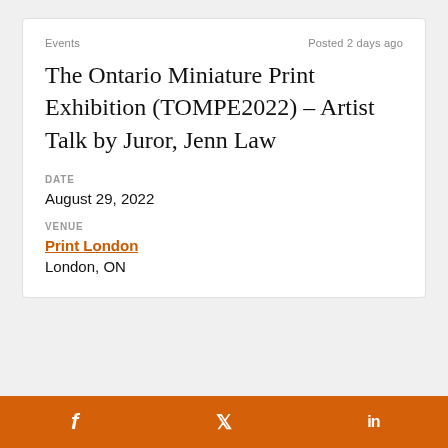Events | Posted 2 days ago
The Ontario Miniature Print Exhibition (TOMPE2022) – Artist Talk by Juror, Jenn Law
DATE
August 29, 2022
VENUE
Print London
London, ON
f  Twitter  in